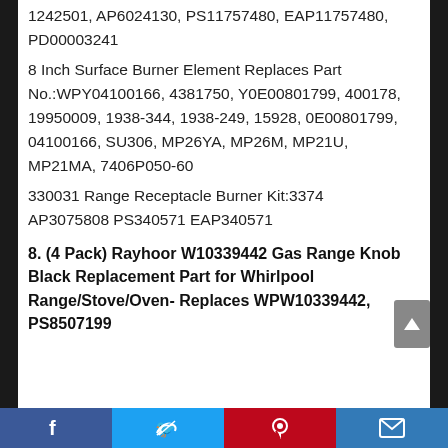1242501, AP6024130, PS11757480, EAP11757480, PD00003241
8 Inch Surface Burner Element Replaces Part No.:WPY04100166, 4381750, Y0E00801799, 400178, 19950009, 1938-344, 1938-249, 15928, 0E00801799, 04100166, SU306, MP26YA, MP26M, MP21U, MP21MA, 7406P050-60
330031 Range Receptacle Burner Kit:3374 AP3075808 PS340571 EAP340571
8. (4 Pack) Rayhoor W10339442 Gas Range Knob Black Replacement Part for Whirlpool Range/Stove/Oven- Replaces WPW10339442, PS8507199
Facebook | Twitter | Pinterest | Mail